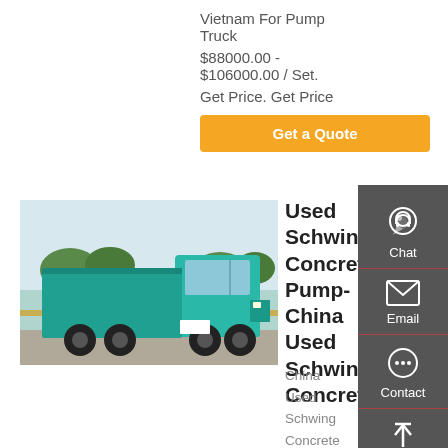Vietnam For Pump Truck
$88000.00 - $106000.00 / Set.
Get Price. Get Price
Get a Quote
[Figure (photo): Teal/green dump truck parked on a road with trees in background]
Used Schwing Concrete Pump- China Used Schwing Concrete
China Used Schwing Concrete Pump - Select 2021 Used Schwing Concrete Pump products from verified China Used Schwing Concrete Pump